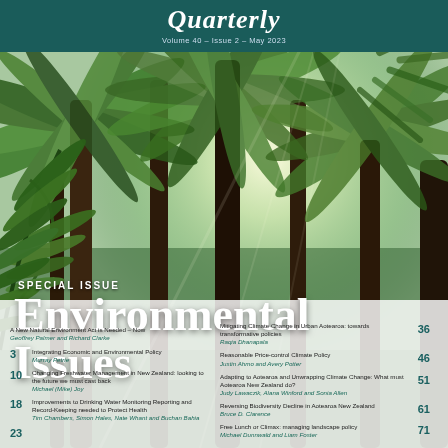Quarterly
Volume 40 – Issue 2 – May 2023
[Figure (photo): Looking up through tall native New Zealand fern trees (tree ferns / punga) into bright sky with green fronds radiating outward, forest scene]
SPECIAL ISSUE
Environmental Issues
A New Natural Environment Act is Needed – Now Geoffrey Palmer and Richard Clarke
3 Integrating Economic and Environmental Policy Murray Petrie
10 Changing Freshwater Management in New Zealand: looking to the future we must cast back Michael (Mike) Joy
23 Improvements to Drinking Water Monitoring Reporting and Record-Keeping needed to Protect Health Tim Chambers, Simon Hales, Nate Whant and Buchan Bahia
36 Mitigating Climate Change in Urban Aotearoa: towards transformative policies Raqia Dhanapala
46 Reasonable Price-control Climate Policy Justin Ahmo and Avery Potter
51 Adapting to Aotearoa and Unwrapping Climate Change: What must Aotearoa New Zealand do? Judy Lawaczik, Alana Winford and Sonia Allen
61 Reversing Biodiversity Decline in Aotearoa New Zealand Bruce D. Clarence
71 Free Lunch or Climax: managing landscape policy Michael Dunnwald and Liam Foster